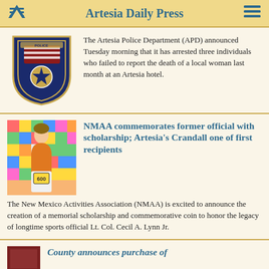Artesia Daily Press
[Figure (photo): Artesia Police Department badge/logo shield]
The Artesia Police Department (APD) announced Tuesday morning that it has arrested three individuals who failed to report the death of a local woman last month at an Artesia hotel.
NMAA commemorates former official with scholarship; Artesia's Crandall one of first recipients
[Figure (photo): Person wearing orange shirt and white pants holding bib number 600, colorful background]
The New Mexico Activities Association (NMAA) is excited to announce the creation of a memorial scholarship and commemorative coin to honor the legacy of longtime sports official Lt. Col. Cecil A. Lynn Jr.
[Figure (photo): Small reddish image thumbnail (partial article)]
County announces purchase of